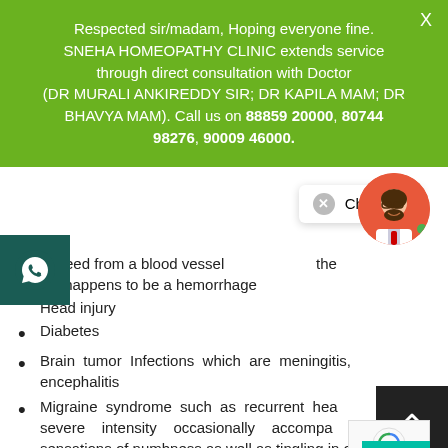Respected sir/madam, Hoping everyone fine. SNEHA HOMEOPATHY CLINIC extends service through direct consultation with Doctor (DR MURALI ANKIREDDY SIR; DR KAPILA MAM; DR BHAVYA MAM). Call us on 88859 20000, 80744 98276, 90009 46000.
A bleed from a blood vessel the[...] which happens to be a hemorrhage
Head injury
Diabetes
Brain tumor Infections which are meningitis, encephalitis
Migraine syndrome such as recurrent headaches of severe intensity occasionally accompanied by sensations of numbness as well as tingling in one side of the body.
Inflammation of the blood vessels that is vasculitis